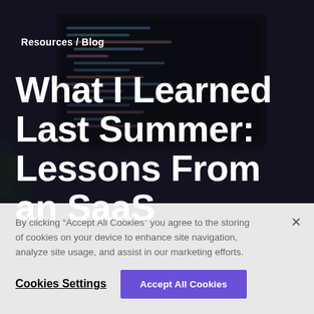[Figure (photo): Dark background showing a laptop screen with code editor, dark theme with colorful syntax highlighting]
Resources / Blog
What I Learned Last Summer: Lessons From an SaaS
By clicking “Accept All Cookies” you agree to the storing of cookies on your device to enhance site navigation, analyze site usage, and assist in our marketing efforts.
Cookies Settings
Accept All Cookies